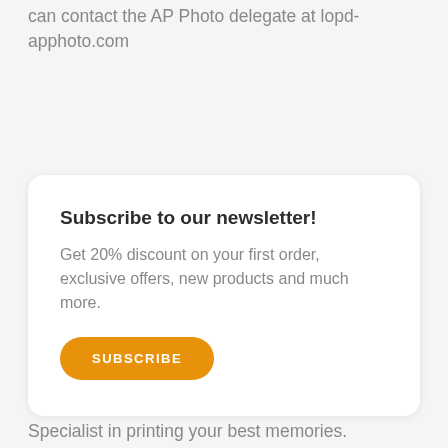can contact the AP Photo delegate at lopd-apphoto.com
Subscribe to our newsletter!
Get 20% discount on your first order, exclusive offers, new products and much more.
SUBSCRIBE
Specialist in printing your best memories.